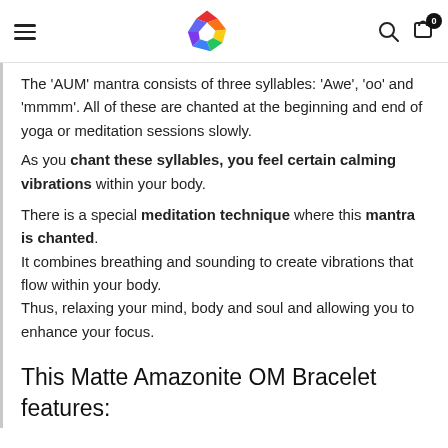Navigation header with hamburger menu, colorful polygon logo, search icon, and cart icon with badge 0
The 'AUM' mantra consists of three syllables: 'Awe', 'oo' and 'mmmm'. All of these are chanted at the beginning and end of yoga or meditation sessions slowly.
As you chant these syllables, you feel certain calming vibrations within your body.
There is a special meditation technique where this mantra is chanted. It combines breathing and sounding to create vibrations that flow within your body. Thus, relaxing your mind, body and soul and allowing you to enhance your focus.
This Matte Amazonite OM Bracelet features: